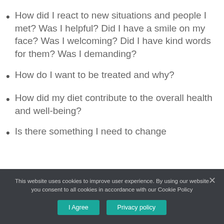How did I react to new situations and people I met? Was I helpful? Did I have a smile on my face?  Was I welcoming? Did I have kind words for them?  Was I demanding?
How do I want to be treated and why?
How did my diet contribute to the overall health and well-being?
Is there something I need to change
This website uses cookies to improve user experience. By using our website you consent to all cookies in accordance with our Cookie Policy
I Agree
Privacy policy